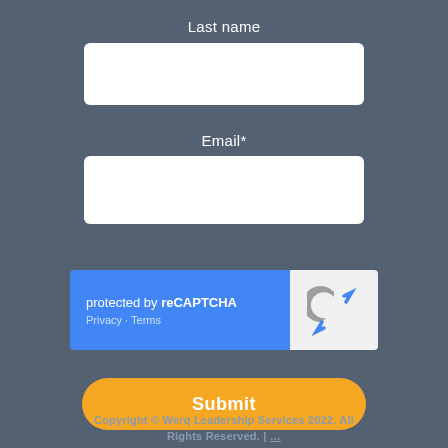Last name
[Figure (screenshot): White input field for Last name]
Email*
[Figure (screenshot): White input field for Email]
[Figure (other): reCAPTCHA widget with blue left panel showing 'protected by reCAPTCHA' and 'Privacy - Terms', and white right panel with reCAPTCHA logo]
[Figure (other): Orange Submit button with rounded corners]
Copyright © Werq Leadership Services 2022. All Rights Reserved. | …